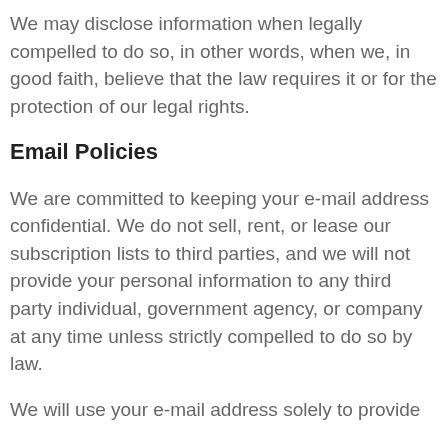We may disclose information when legally compelled to do so, in other words, when we, in good faith, believe that the law requires it or for the protection of our legal rights.
Email Policies
We are committed to keeping your e-mail address confidential. We do not sell, rent, or lease our subscription lists to third parties, and we will not provide your personal information to any third party individual, government agency, or company at any time unless strictly compelled to do so by law.
We will use your e-mail address solely to provide